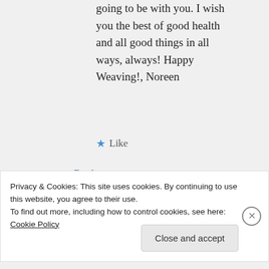going to be with you. I wish you the best of good health and all good things in all ways, always! Happy Weaving!, Noreen
Like
Reply
Marie Christine Viry on December 30, 2020 at 12:08 am
Privacy & Cookies: This site uses cookies. By continuing to use this website, you agree to their use.
To find out more, including how to control cookies, see here: Cookie Policy
Close and accept